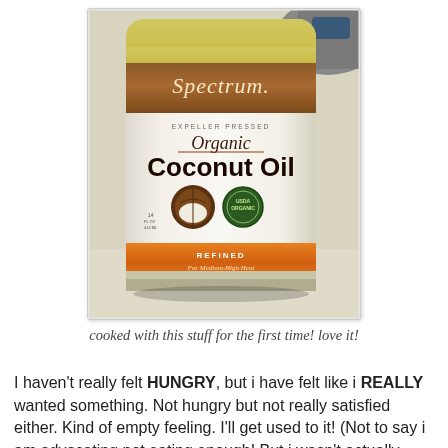[Figure (photo): Photo of a jar of Spectrum Organic Coconut Oil – Expeller Pressed, Refined For Medium-High Heat, with a brown label band at top and orange band at bottom.]
cooked with this stuff for the first time! love it!
I haven't really felt HUNGRY, but i have felt like i REALLY wanted something. Not hungry but not really satisfied either. Kind of empty feeling. I'll get used to it! (Not to say i am advocating not eating enough! But i wasn't actually really hungry!)